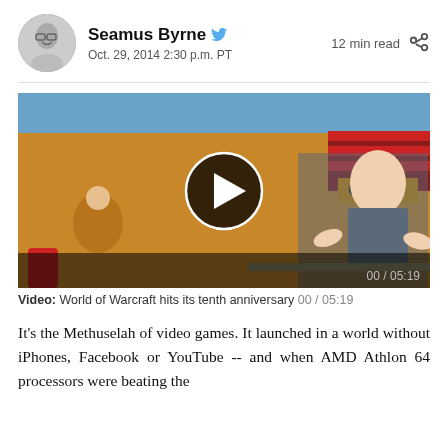Seamus Byrne — Oct. 29, 2014 2:30 p.m. PT — 12 min read
[Figure (screenshot): Video thumbnail showing a man in a gray t-shirt in front of a colorful cartoon mural background, with a play button overlay. Caption: Video: World of Warcraft hits its tenth anniversary 00/05:19]
Video: World of Warcraft hits its tenth anniversary 00/05:19
It's the Methuselah of video games. It launched in a world without iPhones, Facebook or YouTube -- and when AMD Athlon 64 processors were beating the